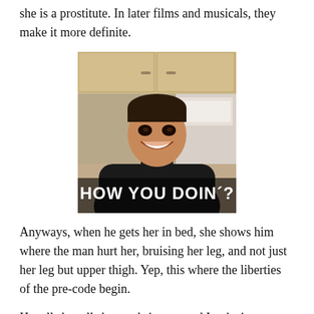she is a prostitute. In later films and musicals, they make it more definite.
[Figure (photo): Meme image of a smiling man wearing a black turtleneck sweater, with the caption 'HOW YOU DOIN'?' in bold white Impact font on a dark overlay at the bottom of the image.]
Anyways, when he gets her in bed, she shows him where the man hurt her, bruising her leg, and not just her leg but upper thigh. Yep, this where the liberties of the pre-code begin.
He tells her all she needs is rest, and Ivy insinuates she'd like him in bed with her.